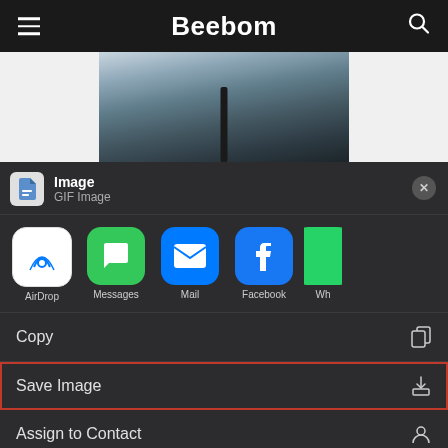Beebom
[Figure (screenshot): iOS share sheet screenshot showing a GIF image being shared. The share sheet has options: AirDrop, Messages, Mail, Facebook, WhatsApp (partially visible). Below are action items: Copy, Save Image (highlighted with red border), Assign to Contact, Print, Edit with Focos.]